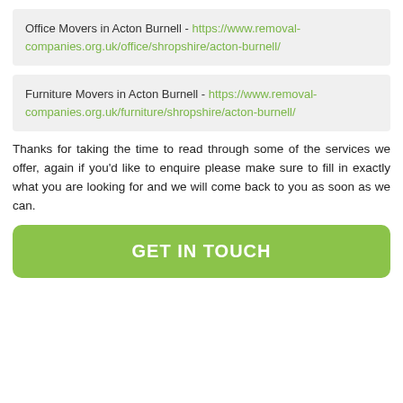Office Movers in Acton Burnell - https://www.removal-companies.org.uk/office/shropshire/acton-burnell/
Furniture Movers in Acton Burnell - https://www.removal-companies.org.uk/furniture/shropshire/acton-burnell/
Thanks for taking the time to read through some of the services we offer, again if you'd like to enquire please make sure to fill in exactly what you are looking for and we will come back to you as soon as we can.
GET IN TOUCH